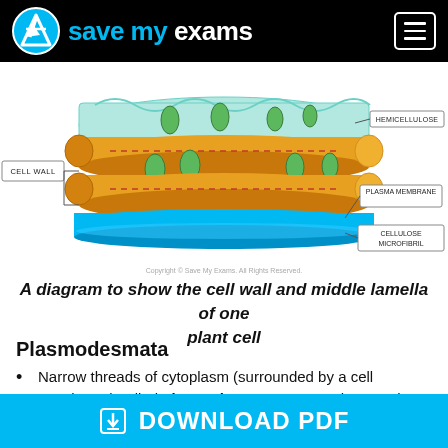Save My Exams
[Figure (illustration): A 3D diagram showing the layers of a plant cell wall including hemicellulose (teal sheet at top with loops), orange/yellow cellulose microfibrils (cylindrical bundles), plasma membrane (blue flat layer), with labels: CELL WALL, HEMICELLULOSE, PLASMA MEMBRANE, CELLULOSE MICROFIBRIL]
A diagram to show the cell wall and middle lamella of one plant cell
Plasmodesmata
Narrow threads of cytoplasm (surrounded by a cell membrane) called plasmodesmata connect the cytoplasm of neighbouring plant cells
This interconnected system of cytoplasm between
DOWNLOAD PDF